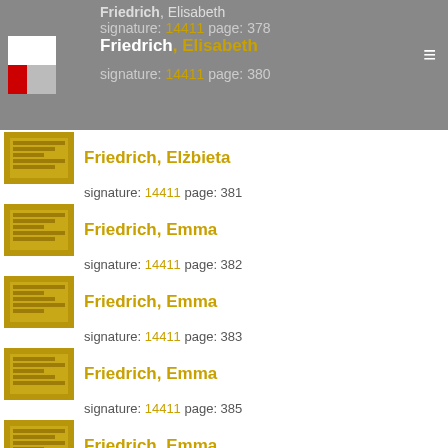Friedrich, Elisabeth signature: 14411 page: 378 | Friedrich, Elisabeth signature: 14411 page: 380
Friedrich, Elżbieta — signature: 14411 page: 381
Friedrich, Emma — signature: 14411 page: 382
Friedrich, Emma — signature: 14411 page: 383
Friedrich, Emma — signature: 14411 page: 385
Friedrich, Emma — signature: 14411 page: 387
Friedrich, Emilie — signature: 14411 page: 388
Friedrich, Emil — signature: 14411 page: 388
Friedrich, Ernestine — signature: 14411 page: 389
Friedrich, Else Martha — signature: 14411 page: 390